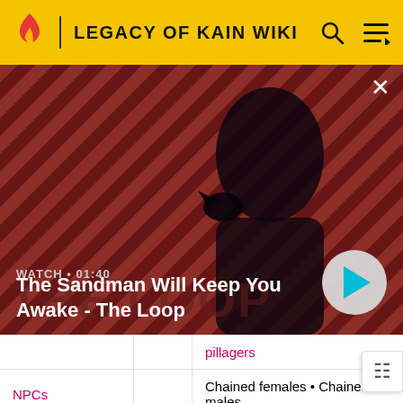LEGACY OF KAIN WIKI
[Figure (screenshot): Video thumbnail for 'The Sandman Will Keep You Awake - The Loop', showing a dark figure with a crow on their shoulder against a red diagonal-striped background. Shows WATCH • 01:40 label and a play button.]
|  |  | pillagers |
| NPCs |  | Chained females • Chained males |
| Bosses |  | The Guardian of Nature • The |